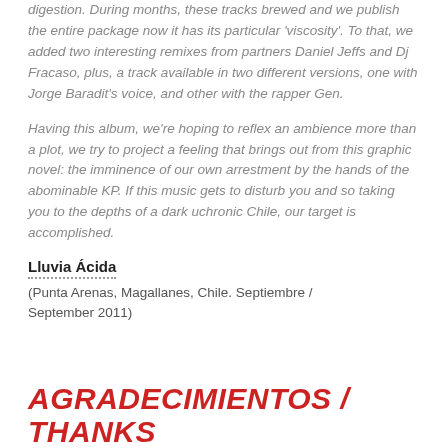digestion. During months, these tracks brewed and we publish the entire package now it has its particular 'viscosity'. To that, we added two interesting remixes from partners Daniel Jeffs and Dj Fracaso, plus, a track available in two different versions, one with Jorge Baradit's voice, and other with the rapper Gen.
Having this album, we're hoping to reflex an ambience more than a plot, we try to project a feeling that brings out from this graphic novel: the imminence of our own arrestment by the hands of the abominable KP. If this music gets to disturb you and so taking you to the depths of a dark uchronic Chile, our target is accomplished.
Lluvia Ácida
(Punta Arenas, Magallanes, Chile. Septiembre / September 2011)
AGRADECIMIENTOS / THANKS